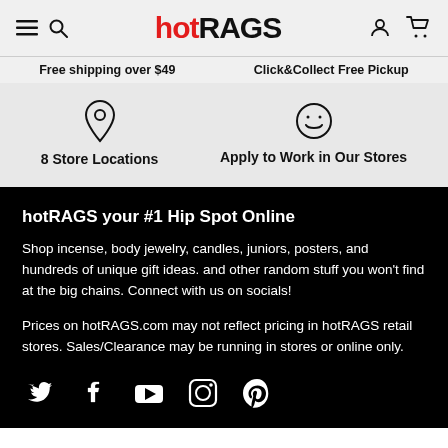hotRAGS
Free shipping over $49
Click&Collect Free Pickup
8 Store Locations
Apply to Work in Our Stores
hotRAGS your #1 Hip Spot Online
Shop incense, body jewelry, candles, juniors, posters, and hundreds of unique gift ideas. and other random stuff you won't find at the big chains. Connect with us on socials!
Prices on hotRAGS.com may not reflect pricing in hotRAGS retail stores. Sales/Clearance may be running in stores or online only.
[Figure (other): Social media icons: Twitter, Facebook, YouTube, Instagram, Pinterest]